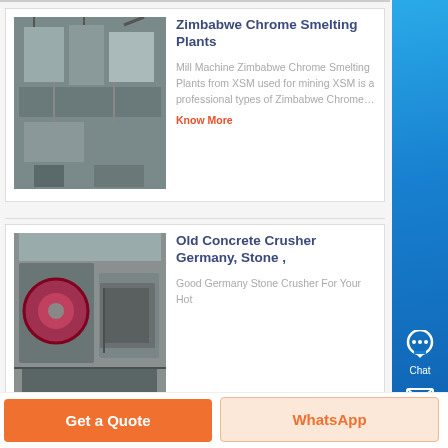[Figure (photo): Industrial chrome smelting plant equipment - machinery with pipes and tanks]
Zimbabwe Chrome Smelting Plants
Mill Machine Zimbabwe Chrome Smelting Plants from XSM used for mining XSM is a professional types of Zimbabwe Chrome…
Know More
[Figure (photo): Old concrete crusher machinery from Germany - large industrial stone crusher]
Old Concrete Crusher Germany, Stone ,
Good Germany Stone Crusher For Your Hot
Get a Quote
WhatsApp